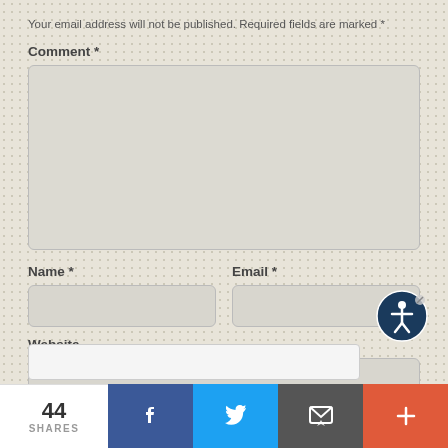Your email address will not be published. Required fields are marked *
Comment *
[Figure (screenshot): Comment text area input box (empty, rounded rectangle)]
Name *
Email *
[Figure (screenshot): Name input field (empty, rounded rectangle)]
[Figure (screenshot): Email input field (empty, rounded rectangle)]
Website
[Figure (screenshot): Website input field (empty, rounded rectangle)]
[Figure (infographic): Accessibility icon - person in circle with dark navy background and pencil indicator]
[Figure (screenshot): CAPTCHA or submit bar at bottom of comment form]
44 SHARES
[Figure (infographic): Social share bar: 44 SHARES count, Facebook button (dark blue), Twitter button (light blue), Email button (gray), More button (orange-red)]